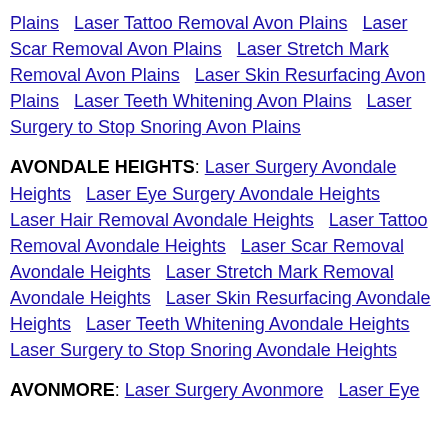Plains   Laser Tattoo Removal Avon Plains   Laser Scar Removal Avon Plains   Laser Stretch Mark Removal Avon Plains   Laser Skin Resurfacing Avon Plains   Laser Teeth Whitening Avon Plains   Laser Surgery to Stop Snoring Avon Plains
AVONDALE HEIGHTS: Laser Surgery Avondale Heights   Laser Eye Surgery Avondale Heights   Laser Hair Removal Avondale Heights   Laser Tattoo Removal Avondale Heights   Laser Scar Removal Avondale Heights   Laser Stretch Mark Removal Avondale Heights   Laser Skin Resurfacing Avondale Heights   Laser Teeth Whitening Avondale Heights   Laser Surgery to Stop Snoring Avondale Heights
AVONMORE: Laser Surgery Avonmore   Laser Eye